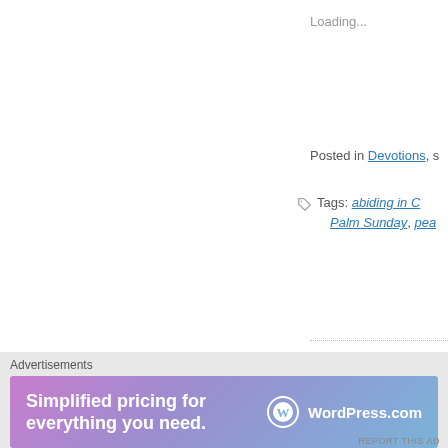Loading...
Posted in Devotions,
Tags: abiding in C…, Palm Sunday, pea…
[Figure (photo): Photograph of a stone church building with gothic-style windows, viewed from the street]
C
D
[Figure (photo): Photograph of a brick church building exterior viewed from a low angle against blue sky]
Advertisements
[Figure (screenshot): WordPress.com advertisement banner: Simplified pricing for everything you need. WordPress.com]